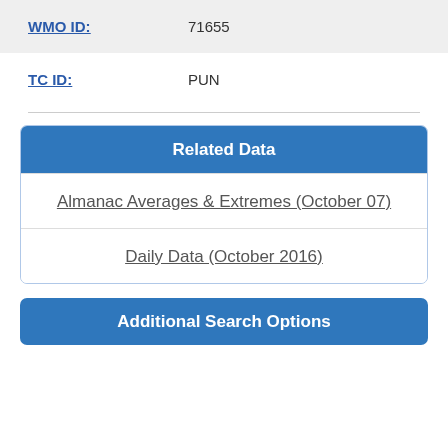| Field | Value |
| --- | --- |
| WMO ID: | 71655 |
| TC ID: | PUN |
Related Data
Almanac Averages & Extremes (October 07)
Daily Data (October 2016)
Additional Search Options